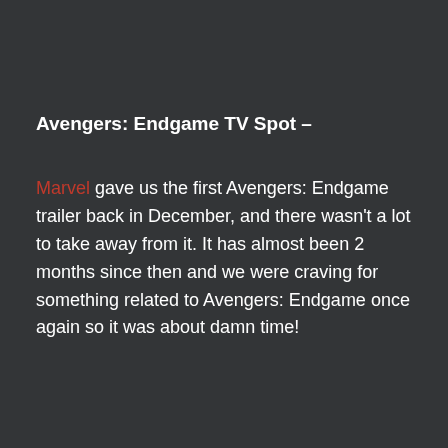Avengers: Endgame TV Spot –
Marvel gave us the first Avengers: Endgame trailer back in December, and there wasn't a lot to take away from it. It has almost been 2 months since then and we were craving for something related to Avengers: Endgame once again so it was about damn time!